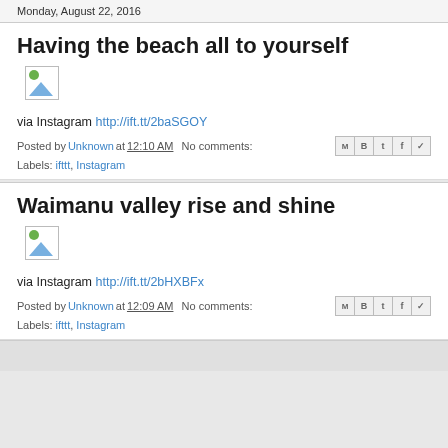Monday, August 22, 2016
Having the beach all to yourself
[Figure (photo): Broken/unloaded image placeholder]
via Instagram http://ift.tt/2baSGOY
Posted by Unknown at 12:10 AM   No comments:
Labels: ifttt, Instagram
Waimanu valley rise and shine
[Figure (photo): Broken/unloaded image placeholder]
via Instagram http://ift.tt/2bHXBFx
Posted by Unknown at 12:09 AM   No comments:
Labels: ifttt, Instagram